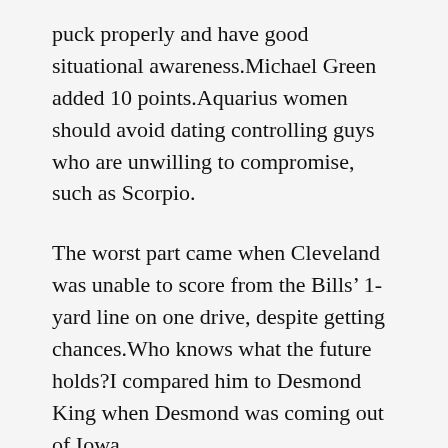puck properly and have good situational awareness.Michael Green added 10 points.Aquarius women should avoid dating controlling guys who are unwilling to compromise, such as Scorpio.
The worst part came when Cleveland was unable to score from the Bills’ 1-yard line on one drive, despite getting chances.Who knows what the future holds?I compared him to Desmond King when Desmond was coming out of Iowa.
There is nothing a Scorpio hates more than the thought of having to be sociable and having to fake laugh at other people’s boring stories.VanMeter was one of five sent home and it sounds like most of the team has been sick since it left Seattle.Embiid missed the first two seasons of his career due to injury and is a rookie despite being in the 2014 NBA Draft, but All season long, Scouts have been saying...